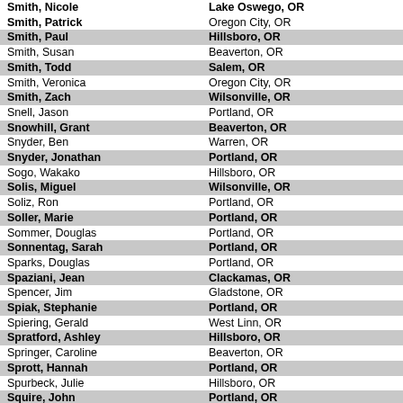| Name | City |
| --- | --- |
| Smith, Nicole | Lake Oswego, OR |
| Smith, Patrick | Oregon City, OR |
| Smith, Paul | Hillsboro, OR |
| Smith, Susan | Beaverton, OR |
| Smith, Todd | Salem, OR |
| Smith, Veronica | Oregon City, OR |
| Smith, Zach | Wilsonville, OR |
| Snell, Jason | Portland, OR |
| Snowhill, Grant | Beaverton, OR |
| Snyder, Ben | Warren, OR |
| Snyder, Jonathan | Portland, OR |
| Sogo, Wakako | Hillsboro, OR |
| Solis, Miguel | Wilsonville, OR |
| Soliz, Ron | Portland, OR |
| Soller, Marie | Portland, OR |
| Sommer, Douglas | Portland, OR |
| Sonnentag, Sarah | Portland, OR |
| Sparks, Douglas | Portland, OR |
| Spaziani, Jean | Clackamas, OR |
| Spencer, Jim | Gladstone, OR |
| Spiak, Stephanie | Portland, OR |
| Spiering, Gerald | West Linn, OR |
| Spratford, Ashley | Hillsboro, OR |
| Springer, Caroline | Beaverton, OR |
| Sprott, Hannah | Portland, OR |
| Spurbeck, Julie | Hillsboro, OR |
| Squire, John | Portland, OR |
| Sreedhar, Kushal | Hillsboro, OR |
| St John, Chuck | Beaverton, OR |
| Staat, Elizabeth | Beaverton, OR |